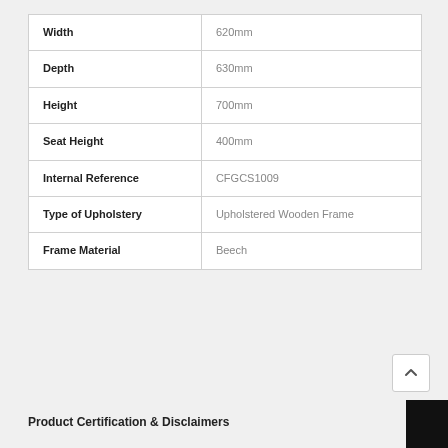| Property | Value |
| --- | --- |
| Width | 620mm |
| Depth | 630mm |
| Height | 700mm |
| Seat Height | 400mm |
| Internal Reference | CFGCS1009 |
| Type of Upholstery | Upholstered Wooden Frame |
| Frame Material | Beech |
Product Certification & Disclaimers